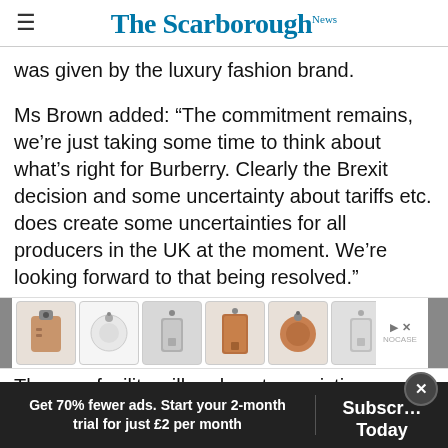The Scarborough News
was given by the luxury fashion brand.
Ms Brown added: “The commitment remains, we’re just taking some time to think about what’s right for Burberry. Clearly the Brexit decision and some uncertainty about tariffs etc. does create some uncertainties for all producers in the UK at the moment. We’re looking forward to that being resolved.”
[Figure (other): Advertisement banner showing leather accessories/cases for various devices]
The new facility will replace two existing
Get 70% fewer ads. Start your 2-month trial for just £2 per month
Subscribe Today